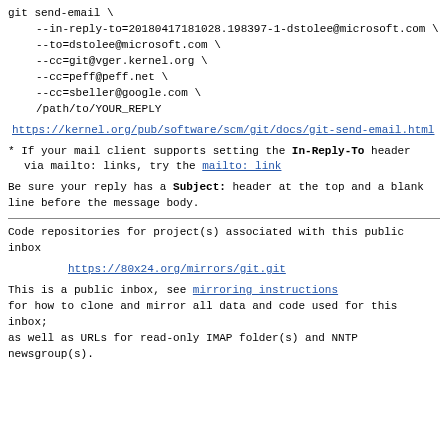git send-email \
    --in-reply-to=20180417181028.198397-1-dstolee@microsoft.com \
    --to=dstolee@microsoft.com \
    --cc=git@vger.kernel.org \
    --cc=peff@peff.net \
    --cc=sbeller@google.com \
    /path/to/YOUR_REPLY
https://kernel.org/pub/software/scm/git/docs/git-send-email.html
* If your mail client supports setting the In-Reply-To header
  via mailto: links, try the mailto: link
Be sure your reply has a Subject: header at the top and a blank line before the message body.
Code repositories for project(s) associated with this public inbox
https://80x24.org/mirrors/git.git
This is a public inbox, see mirroring instructions for how to clone and mirror all data and code used for this inbox;
as well as URLs for read-only IMAP folder(s) and NNTP newsgroup(s).